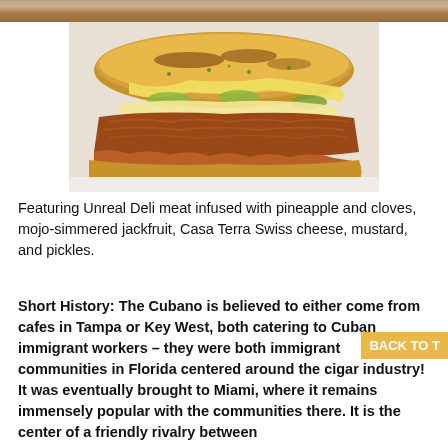[Figure (photo): Top cropped strip of a food photo showing a Cuban sandwich from above]
[Figure (photo): Close-up photo of a Cuban sandwich (Cubano) with grilled bread, melted cheese, pickles, and pulled jackfruit filling, on a white surface]
Featuring Unreal Deli meat infused with pineapple and cloves, mojo-simmered jackfruit, Casa Terra Swiss cheese, mustard, and pickles.
Short History: The Cubano is believed to either come from cafes in Tampa or Key West, both catering to Cuban immigrant workers – they were both immigrant communities in Florida centered around the cigar industry! It was eventually brought to Miami, where it remains immensely popular with the communities there. It is the center of a friendly rivalry between